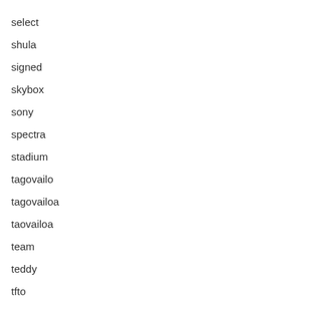select
shula
signed
skybox
sony
spectra
stadium
tagovailo
tagovailoa
taovailoa
team
teddy
tfto